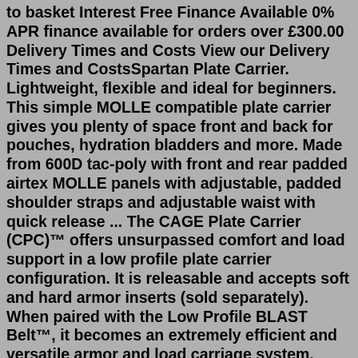to basket Interest Free Finance Available 0% APR finance available for orders over £300.00 Delivery Times and Costs View our Delivery Times and CostsSpartan Plate Carrier. Lightweight, flexible and ideal for beginners. This simple MOLLE compatible plate carrier gives you plenty of space front and back for pouches, hydration bladders and more. Made from 600D tac-poly with front and rear padded airtex MOLLE panels with adjustable, padded shoulder straps and adjustable waist with quick release ... The CAGE Plate Carrier (CPC)™ offers unsurpassed comfort and load support in a low profile plate carrier configuration. It is releasable and accepts soft and hard armor inserts (sold separately). When paired with the Low Profile BLAST Belt™, it becomes an extremely efficient and versatile armor and load carriage system. CAGE Plate Carrier™ (CPC)KombatUK Kids Jump Plate Carrier - BTP Multicam by KombatUK €34.99 SKU 056258905623 Pint sized vest, for your pint sized operator! Micro jump plate carrier for even the smallest of soldiers